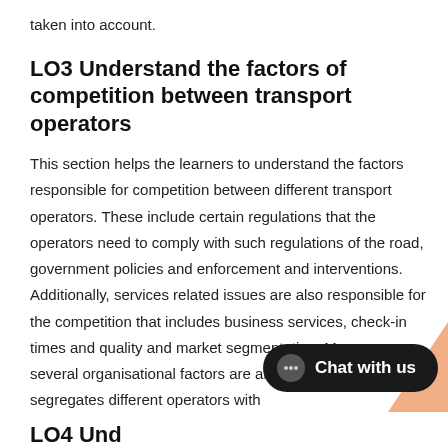taken into account.
LO3 Understand the factors of competition between transport operators
This section helps the learners to understand the factors responsible for competition between different transport operators. These include certain regulations that the operators need to comply with such regulations of the road, government policies and enforcement and interventions. Additionally, services related issues are also responsible for the competition that includes business services, check-in times and quality and market segmentation. Moreover, several organisational factors are also responsible that segregates different operators with
LO4 Und...